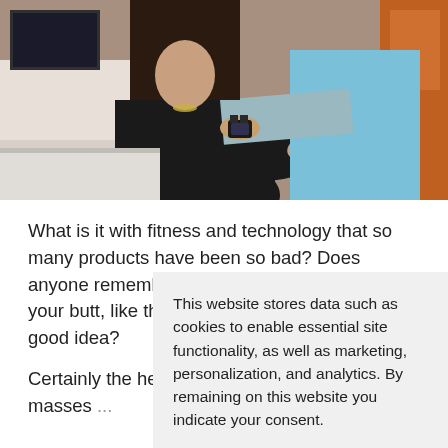[Figure (photo): A person in a black shirt fitting or adjusting a smartwatch/fitness tracker on the wrist of another person wearing a light blue shirt, in what appears to be a store or gym setting.]
What is it with fitness and technology that so many products have been so bad? Does anyone remember the belt thing that vibrated your butt, like that was about those sweat like a good idea?
This website stores data such as cookies to enable essential site functionality, as well as marketing, personalization, and analytics. By remaining on this website you indicate your consent.
Privacy Policy
Certainly the heart rate m emerged in the masses ...